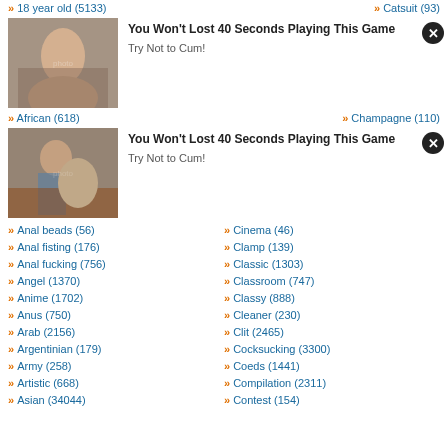» 18 year old (5133)
» Catsuit (93)
[Figure (photo): Thumbnail image for adult ad]
You Won't Lost 40 Seconds Playing This Game
Try Not to Cum!
» African (618)
» Champagne (110)
[Figure (photo): Thumbnail image for adult ad 2]
You Won't Lost 40 Seconds Playing This Game
Try Not to Cum!
» Anal beads (56)
» Cinema (46)
» Anal fisting (176)
» Clamp (139)
» Anal fucking (756)
» Classic (1303)
» Angel (1370)
» Classroom (747)
» Anime (1702)
» Classy (888)
» Anus (750)
» Cleaner (230)
» Arab (2156)
» Clit (2465)
» Argentinian (179)
» Cocksucking (3300)
» Army (258)
» Coeds (1441)
» Artistic (668)
» Compilation (2311)
» Asian (34044)
» Contest (154)